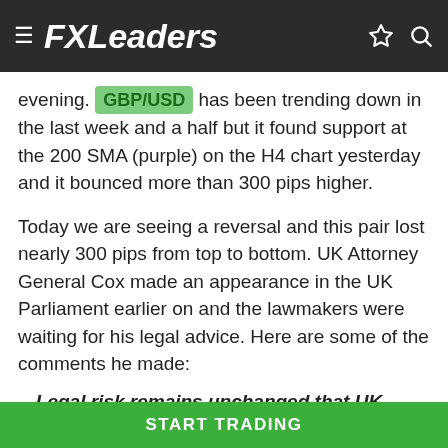FXLeaders
evening. GBP/USD has been trending down in the last week and a half but it found support at the 200 SMA (purple) on the H4 chart yesterday and it bounced more than 300 pips higher.
Today we are seeing a reversal and this pair lost nearly 300 pips from top to bottom. UK Attorney General Cox made an appearance in the UK Parliament earlier on and the lawmakers were waiting for his legal advice. Here are some of the comments he made:
Legal risk remains unchanged that UK would have no lawful means of exiting arrangement
May's assurances reduce the risk of UK being
START TRADING